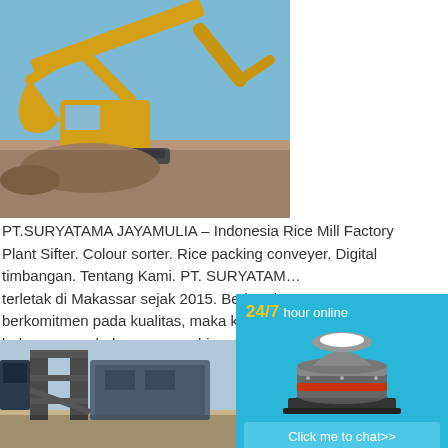[Figure (photo): Yellow mining excavator/bulldozer machine working at a construction or mining site with blue sky background]
PT.SURYATAMA JAYAMULIA – Indonesia Rice Mill Factory Plant Sifter. Colour sorter. Rice packing conveyer. Digital timbangan. Tentang Kami. PT. SURYATAMA... terletak di Makassar sejak 2015. Berkat de... berkomitmen pada kualitas, maka kami tela... beberapa merk dagang yang bisa di dapatk... t dan restaurant di sulawesi. Berminat menja... or ...
Read More
[Figure (photo): Industrial crushing/screening plant equipment with metal framework tower structure]
[Figure (infographic): Sidebar widget showing 24/7 hour online service with cone crusher machine image, Click me to chat button, Enquiry section, and limingjlmofen text]